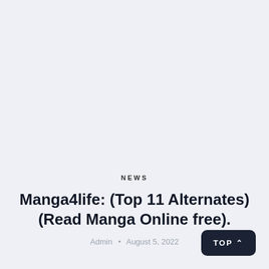NEWS
Manga4life: (Top 11 Alternates) (Read Manga Online free).
Admin • August 5, 2022